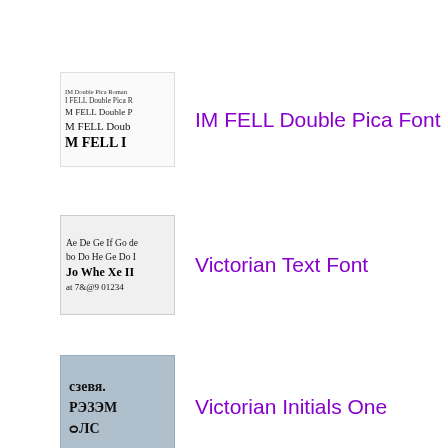[Figure (illustration): Thumbnail preview image of IM FELL Double Pica Font showing sample text in serif font at various sizes]
IM FELL Double Pica Font
[Figure (illustration): Thumbnail preview image of Victorian Text Font showing Gothic/blackletter style characters]
Victorian Text Font
[Figure (illustration): Thumbnail preview image of Victorian Initials One showing decorative initial letters on blue-grey background]
Victorian Initials One
[Figure (illustration): Thumbnail preview image of Your Royal Majesty Font showing a crown and ornate text on golden background]
Your Royal Majesty Font
[Figure (illustration): Thumbnail preview image of Helmswald Post Font showing red background]
Helmswald Post